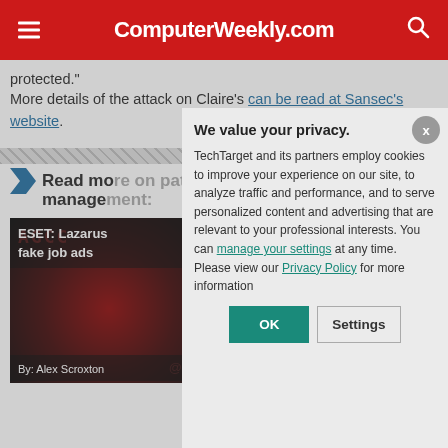ComputerWeekly.com
protected."
More details of the attack on Claire's can be read at Sansec's website.
Read more on patch management:
ESET: Lazarus fake job ads
By: Alex Scroxton
We value your privacy. TechTarget and its partners employ cookies to improve your experience on our site, to analyze traffic and performance, and to serve personalized content and advertising that are relevant to your professional interests. You can manage your settings at any time. Please view our Privacy Policy for more information